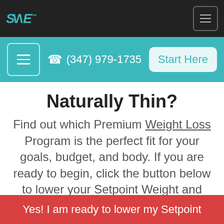SANE (logo) | hamburger menu button
[Figure (screenshot): Teal navigation banner with hamburger menu button, phone number (347) 979-1735, and Start Here button]
Naturally Thin?
Find out which Premium Weight Loss Program is the perfect fit for your goals, budget, and body. If you are ready to begin, click the button below to lower your Setpoint Weight and enjoy permanent weight loss… guaranteed!
Yes! I am ready to lower my Setpoint